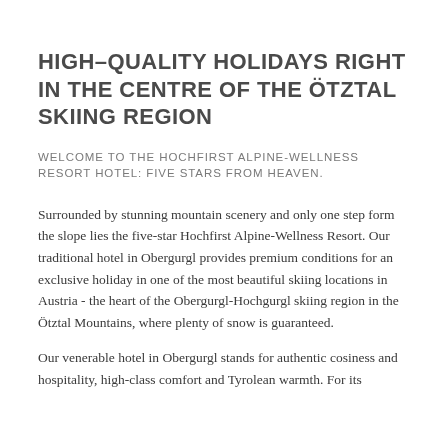HIGH–QUALITY HOLIDAYS RIGHT IN THE CENTRE OF THE ÖTZTAL SKIING REGION
WELCOME TO THE HOCHFIRST ALPINE-WELLNESS RESORT HOTEL: FIVE STARS FROM HEAVEN.
Surrounded by stunning mountain scenery and only one step form the slope lies the five-star Hochfirst Alpine-Wellness Resort. Our traditional hotel in Obergurgl provides premium conditions for an exclusive holiday in one of the most beautiful skiing locations in Austria - the heart of the Obergurgl-Hochgurgl skiing region in the Ötztal Mountains, where plenty of snow is guaranteed.
Our venerable hotel in Obergurgl stands for authentic cosiness and hospitality, high-class comfort and Tyrolean warmth. For its